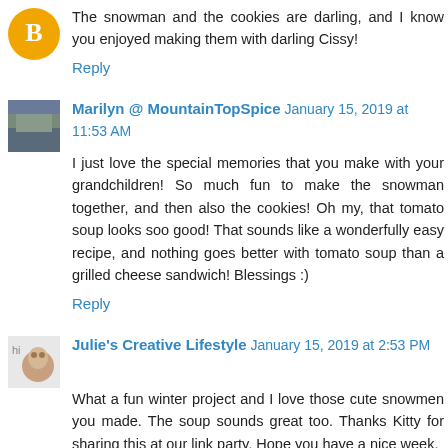The snowman and the cookies are darling, and I know you enjoyed making them with darling Cissy!
Reply
Marilyn @ MountainTopSpice January 15, 2019 at 11:53 AM
I just love the special memories that you make with your grandchildren! So much fun to make the snowman together, and then also the cookies! Oh my, that tomato soup looks soo good! That sounds like a wonderfully easy recipe, and nothing goes better with tomato soup than a grilled cheese sandwich! Blessings :)
Reply
Julie's Creative Lifestyle January 15, 2019 at 2:53 PM
What a fun winter project and I love those cute snowmen you made. The soup sounds great too. Thanks Kitty for sharing this at our link party. Hope you have a nice week.